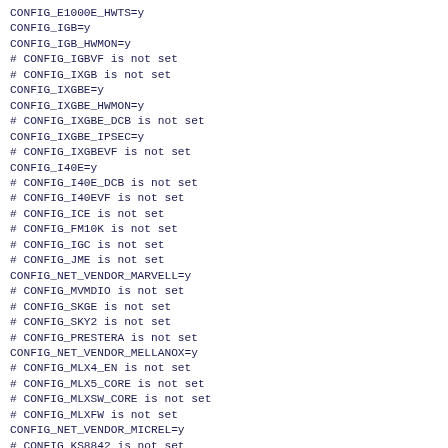CONFIG_E1000E_HWTS=y
CONFIG_IGB=y
CONFIG_IGB_HWMON=y
# CONFIG_IGBVF is not set
# CONFIG_IXGB is not set
CONFIG_IXGBE=y
CONFIG_IXGBE_HWMON=y
# CONFIG_IXGBE_DCB is not set
CONFIG_IXGBE_IPSEC=y
# CONFIG_IXGBEVF is not set
CONFIG_I40E=y
# CONFIG_I40E_DCB is not set
# CONFIG_I40EVF is not set
# CONFIG_ICE is not set
# CONFIG_FM10K is not set
# CONFIG_IGC is not set
# CONFIG_JME is not set
CONFIG_NET_VENDOR_MARVELL=y
# CONFIG_MVMDIO is not set
# CONFIG_SKGE is not set
# CONFIG_SKY2 is not set
# CONFIG_PRESTERA is not set
CONFIG_NET_VENDOR_MELLANOX=y
# CONFIG_MLX4_EN is not set
# CONFIG_MLX5_CORE is not set
# CONFIG_MLXSW_CORE is not set
# CONFIG_MLXFW is not set
CONFIG_NET_VENDOR_MICREL=y
# CONFIG_KS8842 is not set
# CONFIG_KS8851 is not set